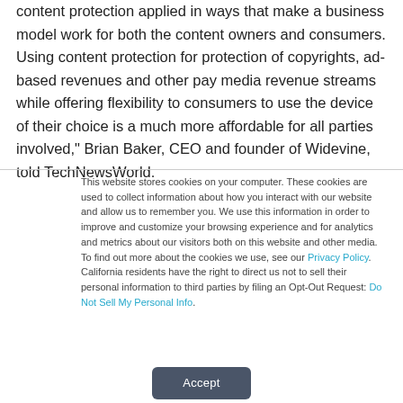content protection applied in ways that make a business model work for both the content owners and consumers. Using content protection for protection of copyrights, ad-based revenues and other pay media revenue streams while offering flexibility to consumers to use the device of their choice is a much more affordable for all parties involved," Brian Baker, CEO and founder of Widevine, told TechNewsWorld.
This website stores cookies on your computer. These cookies are used to collect information about how you interact with our website and allow us to remember you. We use this information in order to improve and customize your browsing experience and for analytics and metrics about our visitors both on this website and other media. To find out more about the cookies we use, see our Privacy Policy. California residents have the right to direct us not to sell their personal information to third parties by filing an Opt-Out Request: Do Not Sell My Personal Info.